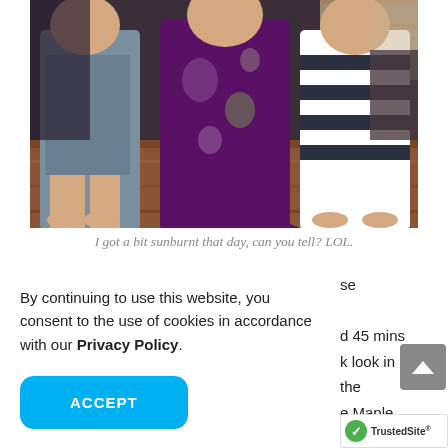[Figure (photo): Three people standing together indoors, one wearing a purple floral kimono. Wooden floor visible. Interior Japanese-style setting.]
I got a bit sunburnt that day, can you tell? LOL.
By continuing to use this website, you consent to the use of cookies in accordance with our Privacy Policy.
ACCEPT
se
d 45 mins
k look in
the
e Maple
ete
b
[Figure (logo): TrustedSite badge with green checkmark]